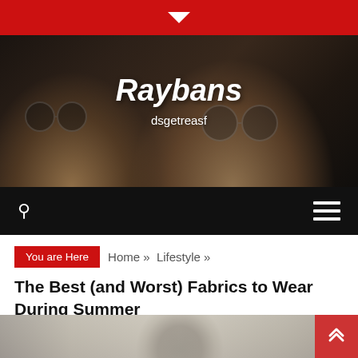▼
[Figure (photo): Hero banner photo of a man and woman wearing round sunglasses, with overlay text 'Raybans' and 'dsgetreasf']
Raybans
dsgetreasf
[Figure (screenshot): Black navigation bar with search icon on left and hamburger menu icon on right]
You are Here  Home »  Lifestyle »
The Best (and Worst) Fabrics to Wear During Summer
[Figure (photo): Partially visible photo of a person wearing a patterned headscarf/turban outdoors]